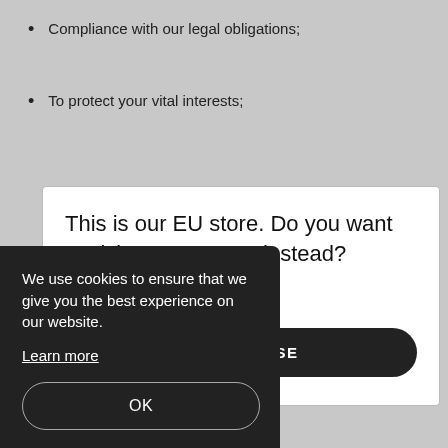Compliance with our legal obligations;
To protect your vital interests;
[Figure (screenshot): Modal dialog popup asking: 'This is our EU store. Do you want to visit our US store instead?' with a dark 'YES, PLEASE' button and a white outlined button partially visible with text ending in 'KS']
r rights' section below.
AUTOMATIC DECISION-MAKING
[Figure (screenshot): Cookie consent bar in dark background with text: 'We use cookies to ensure that we give you the best experience on our website. Learn more' and an OK button]